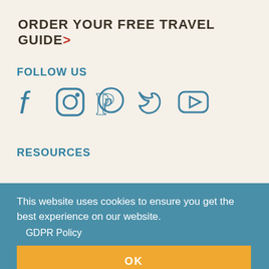ORDER YOUR FREE TRAVEL GUIDE>
FOLLOW US
[Figure (infographic): Social media icons: Facebook, Instagram, Pinterest, Twitter, YouTube in teal/blue outline style]
RESOURCES
Arkansas.gov
Arkansas State Parks
Keep Arkansas Beautiful
Group Travel
Relocate
Español
FOI
This website uses cookies to ensure you get the best experience on our website.
GDPR Policy
OK